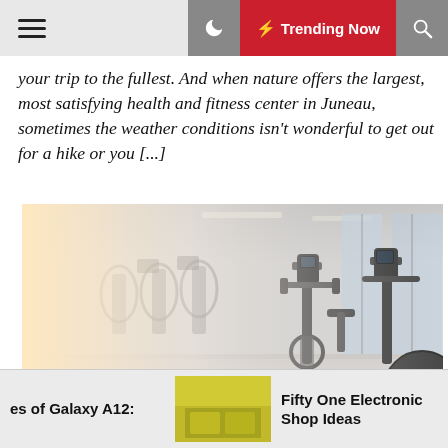≡  🌙  ⚡ Trending Now  🔍
your trip to the fullest. And when nature offers the largest, most satisfying health and fitness center in Juneau, sometimes the weather conditions isn't wonderful to get out for a hike or you [...]
[Figure (photo): Interior of a modern gym or fitness center showing exercise bikes, elliptical machines, and fitness equipment in a bright room with large windows. The image has a faded, bright left side with warmer tones and darker equipment on the right including exercise bikes and a large exercise ball.]
es of Galaxy A12:
[Figure (photo): Small thumbnail image of what appears to be an electronic or retail shop interior with yellow accents.]
Fifty One Electronic Shop Ideas